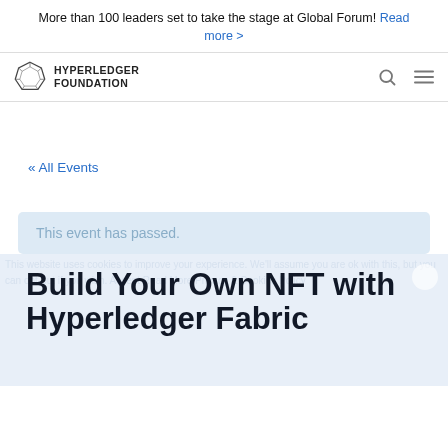More than 100 leaders set to take the stage at Global Forum! Read more >
[Figure (logo): Hyperledger Foundation logo with geometric polygon icon and text HYPERLEDGER FOUNDATION]
« All Events
This event has passed.
Build Your Own NFT with Hyperledger Fabric